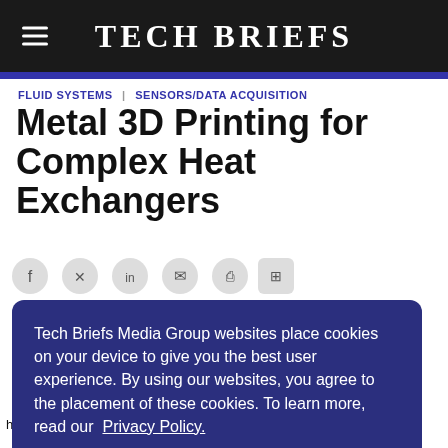TECH BRIEFS
FLUID SYSTEMS | SENSORS/DATA ACQUISITION
Metal 3D Printing for Complex Heat Exchangers
Tech Briefs Media Group websites place cookies on your device to give you the best user experience. By using our websites, you agree to the placement of these cookies. To learn more, read our Privacy Policy.
Accept & Continue
...ods for ...nge heat exchangers for fuel cells, and components for internal...